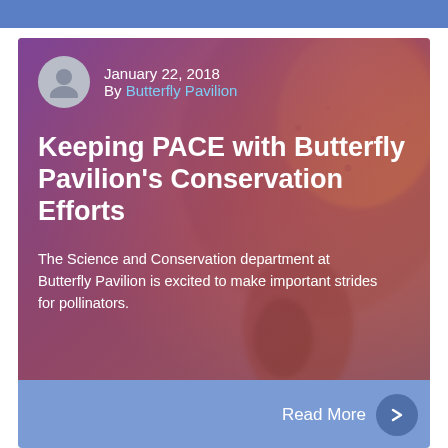[Figure (photo): Close-up macro photo of an orange and brown fuzzy bee or pollinator insect, overlaid with a purple-pink gradient. Contains author avatar, date, byline, article title, and excerpt text overlaid on the image.]
January 22, 2018
By Butterfly Pavilion
Keeping PACE with Butterfly Pavilion's Conservation Efforts
The Science and Conservation department at Butterfly Pavilion is excited to make important strides for pollinators.
Read More